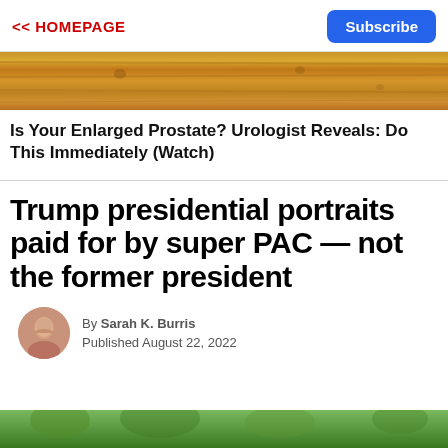<< HOMEPAGE    Subscribe
[Figure (photo): Wood plank texture banner image]
Is Your Enlarged Prostate? Urologist Reveals: Do This Immediately (Watch)
Trump presidential portraits paid for by super PAC — not the former president
By Sarah K. Burris
Published August 22, 2022
[Figure (photo): Bottom portion of an outdoor photo with green foliage]